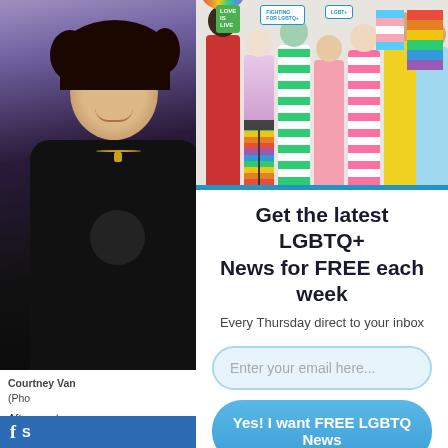[Figure (photo): Portrait of Courtney Va... smiling woman with curly dark hair wearing a black t-shirt with a tree logo, partially visible on the left side]
[Figure (photo): Group photo of diverse people holding rainbow LGBTQ+ pride flags and signs including 'LOVE IS LIVE' and 'FIGHTING FOR LGBTQ+', wearing colorful outfits]
Courtney Van... (Pho...
After mont... candidates ... of the scho...
Get the latest LGBTQ+ News for FREE each week
Every Thursday direct to your inbox
Enter your email here...
Yes! I want FREE LGBTQ News
S...